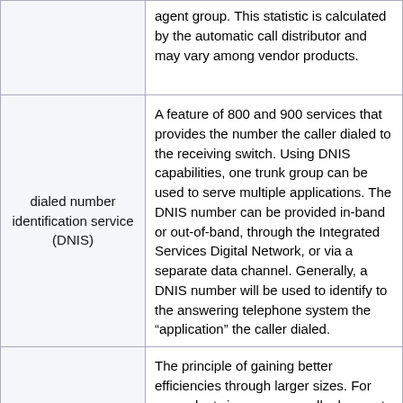| Term | Definition |
| --- | --- |
| (continued) | agent group. This statistic is calculated by the automatic call distributor and may vary among vendor products. |
| dialed number identification service (DNIS) | A feature of 800 and 900 services that provides the number the caller dialed to the receiving switch. Using DNIS capabilities, one trunk group can be used to serve multiple applications. The DNIS number can be provided in-band or out-of-band, through the Integrated Services Digital Network, or via a separate data channel. Generally, a DNIS number will be used to identify to the answering telephone system the “application” the caller dialed. |
| economies of scale [Back to the top] | The principle of gaining better efficiencies through larger sizes. For example, twice as many calls does not require twice as many staff or trunks to handle because of inherent efficiencies of larger offered call |